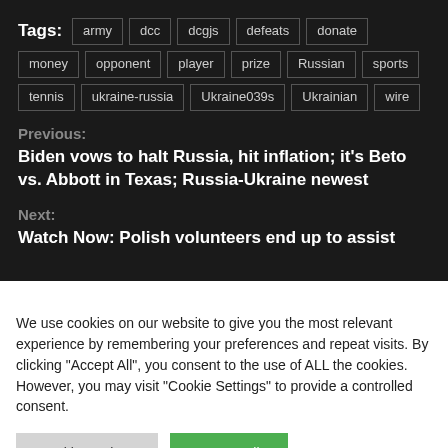Tags: army dcc dcgjs defeats donate money opponent player prize Russian sports tennis ukraine-russia Ukraine039s Ukrainian wire
Previous:
Biden vows to halt Russia, hit inflation; it's Beto vs. Abbott in Texas; Russia-Ukraine newest
Next:
Watch Now: Polish volunteers end up to assist
We use cookies on our website to give you the most relevant experience by remembering your preferences and repeat visits. By clicking "Accept All", you consent to the use of ALL the cookies. However, you may visit "Cookie Settings" to provide a controlled consent.
Cookie Settings | Accept All